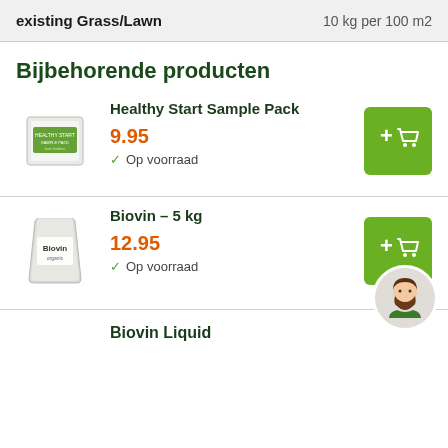existing Grass/Lawn    10 kg per 100 m2
Bijbehorende producten
Healthy Start Sample Pack
9.95
✓ Op voorraad
Biovin – 5 kg
12.95
✓ Op voorraad
Biovin Liquid